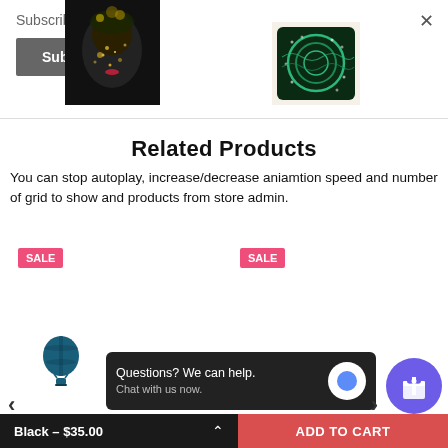Subscribe
Subscribe
Related Products
You can stop autoplay, increase/decrease aniamtion speed and number of grid to show and products from store admin.
SALE
SALE
[Figure (photo): Dark photo of woman with face paint and gold accessories]
[Figure (photo): Colorful geometric patterned decorative pillow on beige background]
[Figure (logo): Hot air balloon logo/icon in teal color]
Questions? We can help. Chat with us now.
Black – $35.00
ADD TO CART